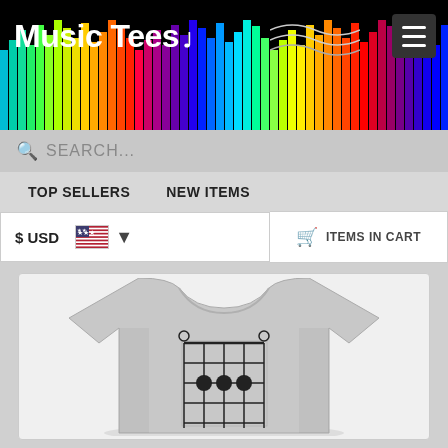[Figure (screenshot): Music Tees website header with logo, equalizer bar graphic, hamburger menu, search bar, navigation links (TOP SELLERS, NEW ITEMS), currency selector ($ USD with US flag), ITEMS IN CART button, and product image of a gray t-shirt with guitar chord diagram print.]